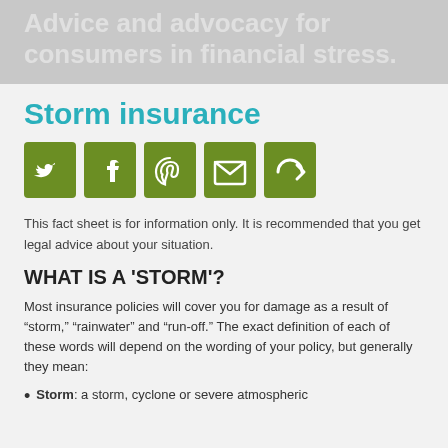Advice and advocacy for consumers in financial stress.
Storm insurance
[Figure (infographic): Five green social media sharing icons: Twitter, Facebook, Pinterest, Email, and a circular arrow/share icon]
This fact sheet is for information only. It is recommended that you get legal advice about your situation.
WHAT IS A 'STORM'?
Most insurance policies will cover you for damage as a result of “storm,” “rainwater” and “run-off.” The exact definition of each of these words will depend on the wording of your policy, but generally they mean:
Storm: a storm, cyclone or severe atmospheric